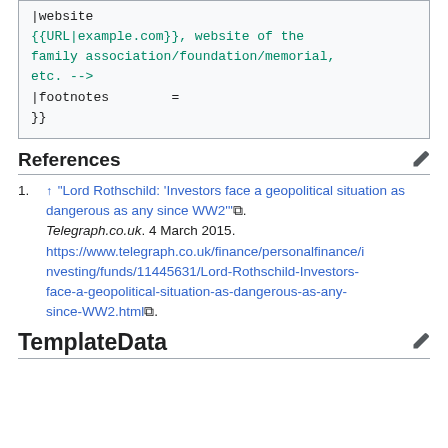|website
{{URL|example.com}}, website of the family association/foundation/memorial, etc. -->
|footnotes        =
}}
References
1. ^ "Lord Rothschild: 'Investors face a geopolitical situation as dangerous as any since WW2'". Telegraph.co.uk. 4 March 2015. https://www.telegraph.co.uk/finance/personalfinance/investing/funds/11445631/Lord-Rothschild-Investors-face-a-geopolitical-situation-as-dangerous-as-any-since-WW2.html.
TemplateData